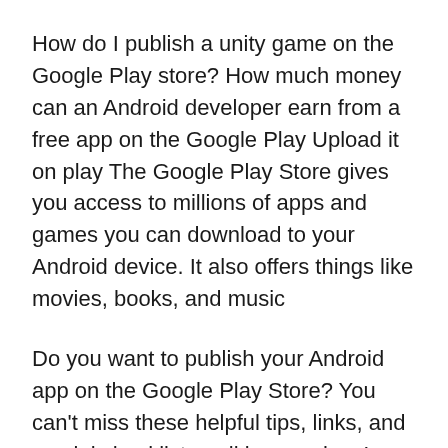How do I publish a unity game on the Google Play store? How much money can an Android developer earn from a free app on the Google Play Upload it on play The Google Play Store gives you access to millions of apps and games you can download to your Android device. It also offers things like movies, books, and music
Do you want to publish your Android app on the Google Play Store? You can't miss these helpful tips, links, and crucial checklists - all in one place! 24/02/2018 · Tags: google play developer account free; how to publish an app to the play store for free; how to submit android app to google play store; publish android app on amazon